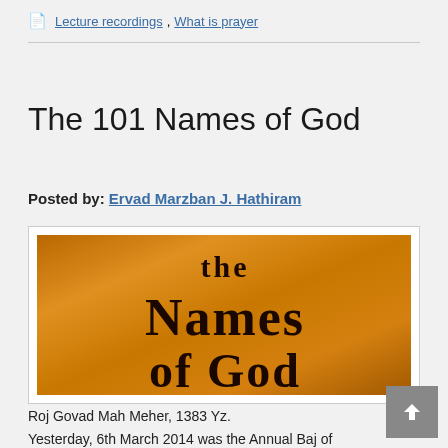📄 Lecture recordings, What is prayer
The 101 Names of God
Posted by: Ervad Marzban J. Hathiram
[Figure (illustration): Book cover or banner image with orange/golden textured background showing gothic blackletter text reading 'the Names of God']
Roj Govad Mah Meher, 1383 Yz.
Yesterday, 6th March 2014 was the Annual Baj of Sorab Jehangirji